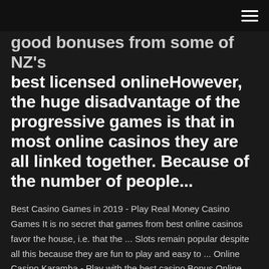good bonuses from some of NZ's best licensed onlineHowever, the huge disadvantage of the progressive games is that in most online casinos they are all linked together. Because of the number of people...
Best Casino Games in 2019 - Play Real Money Casino Games It is no secret that games from best online casinos favor the house, i.e. that the ... Slots remain popular despite all this because they are fun to play and easy to ... Online Casino Karamba - Play with the best casino Bonus Online ...